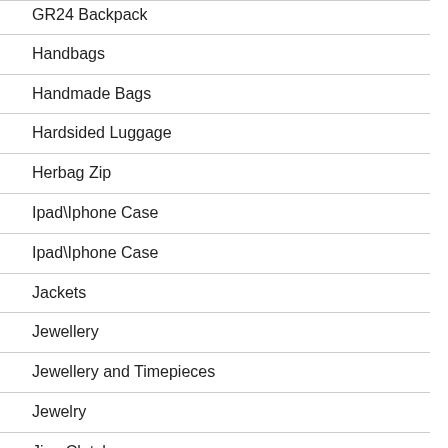GR24 Backpack
Handbags
Handmade Bags
Hardsided Luggage
Herbag Zip
Ipad\Iphone Case
Ipad\Iphone Case
Jackets
Jewellery
Jewellery and Timepieces
Jewelry
Jige Clutch